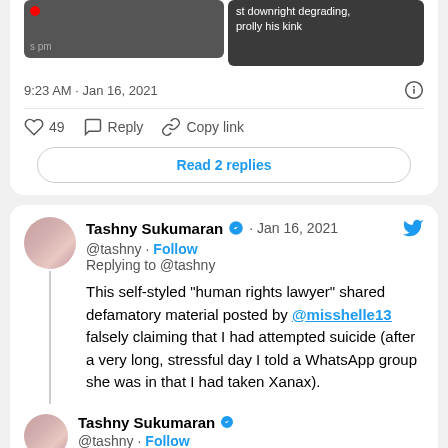[Figure (screenshot): Partial screenshot showing two message bubbles in dark chat interface]
9:23 AM · Jan 16, 2021
49   Reply   Copy link
Read 2 replies
Tashny Sukumaran · Jan 16, 2021
@tashny · Follow
Replying to @tashny
This self-styled "human rights lawyer" shared defamatory material posted by @misshelle13 falsely claiming that I had attempted suicide (after a very long, stressful day I told a WhatsApp group she was in that I had taken Xanax).
Tashny Sukumaran
@tashny · Follow
This lawyer, who claims to care about our